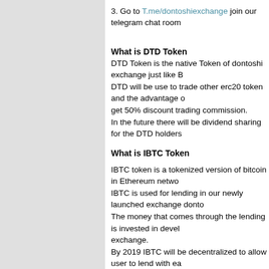3. Go to T.me/dontoshiexchange join our telegram chat room
What is DTD Token
DTD Token is the native Token of dontoshi exchange just like B DTD will be use to trade other erc20 token and the advantage get 50% discount trading commission. In the future there will be dividend sharing for the DTD holders
What is IBTC Token
IBTC token is a tokenized version of bitcoin in Ethereum netwo IBTC is used for lending in our newly launched exchange donto The money that comes through the lending is invested in devel exchange. By 2019 IBTC will be decentralized to allow user to lend with ea commisions on the lending interest in IBTC. Next year IBTC white paper will be updated to accommodated IBTC Token.
DTD and IBTC Token details
IBTC TOKEN CONTRACT DETAILS.
Token name:  IBTC token